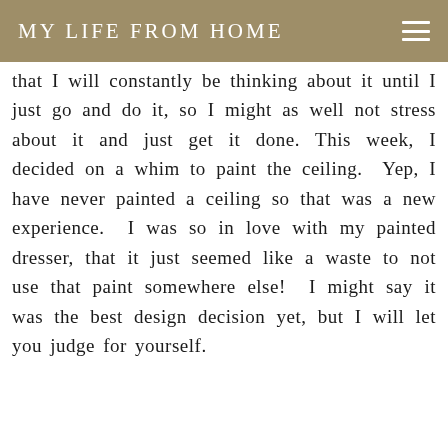MY LIFE FROM HOME
that I will constantly be thinking about it until I just go and do it, so I might as well not stress about it and just get it done. This week, I decided on a whim to paint the ceiling. Yep, I have never painted a ceiling so that was a new experience. I was so in love with my painted dresser, that it just seemed like a waste to not use that paint somewhere else! I might say it was the best design decision yet, but I will let you judge for yourself.